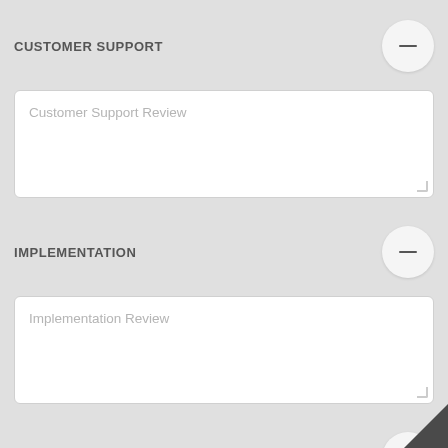CUSTOMER SUPPORT
Customer Support Review
IMPLEMENTATION
Implementation Review
RENEW & RECOMMEND
Renew & Recommend Review